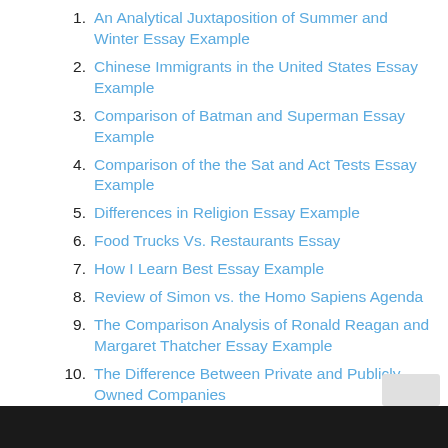An Analytical Juxtaposition of Summer and Winter Essay Example
Chinese Immigrants in the United States Essay Example
Comparison of Batman and Superman Essay Example
Comparison of the the Sat and Act Tests Essay Example
Differences in Religion Essay Example
Food Trucks Vs. Restaurants Essay
How I Learn Best Essay Example
Review of Simon vs. the Homo Sapiens Agenda
The Comparison Analysis of Ronald Reagan and Margaret Thatcher Essay Example
The Difference Between Private and Publicly Owned Companies